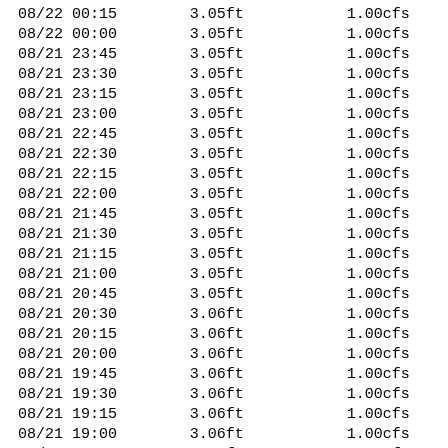| 08/22 00:15 | 3.05ft | 1.00cfs |
| 08/22 00:00 | 3.05ft | 1.00cfs |
| 08/21 23:45 | 3.05ft | 1.00cfs |
| 08/21 23:30 | 3.05ft | 1.00cfs |
| 08/21 23:15 | 3.05ft | 1.00cfs |
| 08/21 23:00 | 3.05ft | 1.00cfs |
| 08/21 22:45 | 3.05ft | 1.00cfs |
| 08/21 22:30 | 3.05ft | 1.00cfs |
| 08/21 22:15 | 3.05ft | 1.00cfs |
| 08/21 22:00 | 3.05ft | 1.00cfs |
| 08/21 21:45 | 3.05ft | 1.00cfs |
| 08/21 21:30 | 3.05ft | 1.00cfs |
| 08/21 21:15 | 3.05ft | 1.00cfs |
| 08/21 21:00 | 3.05ft | 1.00cfs |
| 08/21 20:45 | 3.05ft | 1.00cfs |
| 08/21 20:30 | 3.06ft | 1.00cfs |
| 08/21 20:15 | 3.06ft | 1.00cfs |
| 08/21 20:00 | 3.06ft | 1.00cfs |
| 08/21 19:45 | 3.06ft | 1.00cfs |
| 08/21 19:30 | 3.06ft | 1.00cfs |
| 08/21 19:15 | 3.06ft | 1.00cfs |
| 08/21 19:00 | 3.06ft | 1.00cfs |
| 08/21 18:45 | 3.05ft | 1.00cfs |
| 08/21 18:30 | 3.05ft | 1.00cfs |